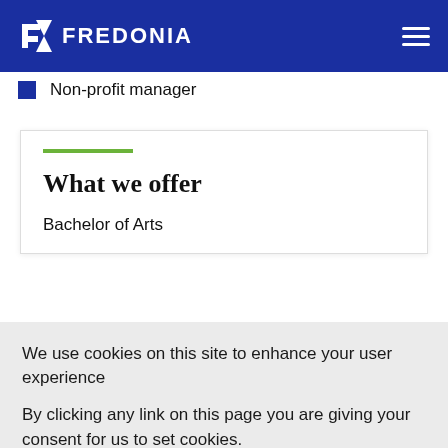FREDONIA
Non-profit manager
What we offer
Bachelor of Arts
We use cookies on this site to enhance your user experience
By clicking any link on this page you are giving your consent for us to set cookies.
OK, I AGREE